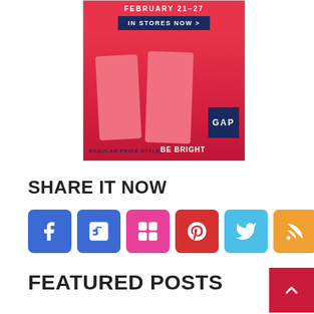[Figure (illustration): GAP 'Be Bright' promotional advertisement showing legs in bright red/pink clothing with text 'FEBRUARY 21-27', 'IN STORES NOW >', GAP logo box, 'REGULAR PRICE STYLES', and 'BE BRIGHT']
SHARE IT NOW
[Figure (infographic): Row of social media sharing icons: Facebook (blue), Behance (blue), Flickr (pink), Pinterest (red), Twitter (light blue), RSS (orange)]
FEATURED POSTS